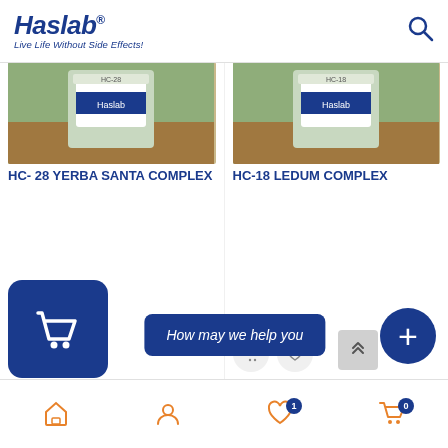Haslab® Live Life Without Side Effects!
[Figure (photo): Product image of HC-28 Yerba Santa Complex bottle on wooden surface]
HC- 28 YERBA SANTA COMPLEX
₹75 – ₹950
[Figure (photo): Product image of HC-18 Ledum Complex bottle on wooden surface]
HC-18 LEDUM COMPLEX
₹75 – ₹950
How may we help you
Home | Account | Wishlist (1) | Cart (0)